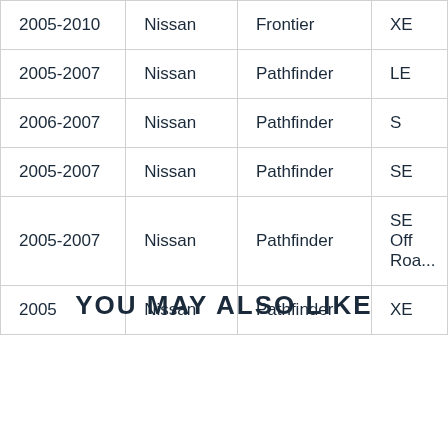| Year | Make | Model | Trim |
| --- | --- | --- | --- |
| 2005-2010 | Nissan | Frontier | XE |
| 2005-2007 | Nissan | Pathfinder | LE |
| 2006-2007 | Nissan | Pathfinder | S |
| 2005-2007 | Nissan | Pathfinder | SE |
| 2005-2007 | Nissan | Pathfinder | SE Off Road |
| 2005 | Nissan | Pathfinder | XE |
YOU MAY ALSO LIKE